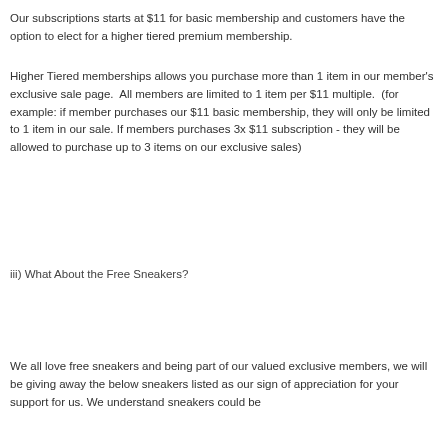Our subscriptions starts at $11 for basic membership and customers have the option to elect for a higher tiered premium membership.
Higher Tiered memberships allows you purchase more than 1 item in our member's exclusive sale page.  All members are limited to 1 item per $11 multiple.  (for example: if member purchases our $11 basic membership, they will only be limited to 1 item in our sale. If members purchases 3x $11 subscription - they will be allowed to purchase up to 3 items on our exclusive sales)
iii) What About the Free Sneakers?
We all love free sneakers and being part of our valued exclusive members, we will be giving away the below sneakers listed as our sign of appreciation for your support for us. We understand sneakers could be